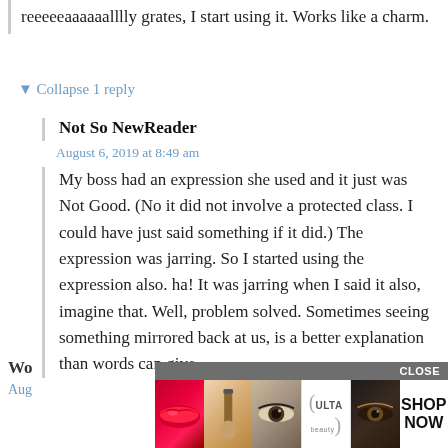reeeeeaaaaaalllly grates, I start using it. Works like a charm.
▼ Collapse 1 reply
Not So NewReader
August 6, 2019 at 8:49 am
My boss had an expression she used and it just was Not Good. (No it did not involve a protected class. I could have just said something if it did.) The expression was jarring. So I started using the expression also. ha! It was jarring when I said it also, imagine that. Well, problem solved. Sometimes seeing something mirrored back at us, is a better explanation than words can give.
[Figure (screenshot): ULTA beauty advertisement banner with makeup photos, CLOSE button, and SHOP NOW text]